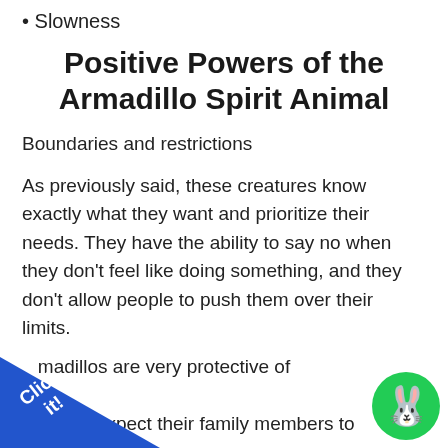Slowness
Positive Powers of the Armadillo Spirit Animal
Boundaries and restrictions
As previously said, these creatures know exactly what they want and prioritize their needs. They have the ability to say no when they don't feel like doing something, and they don't allow people to push them over their limits.
Armadillos are very protective of their privacy and expect their family members to